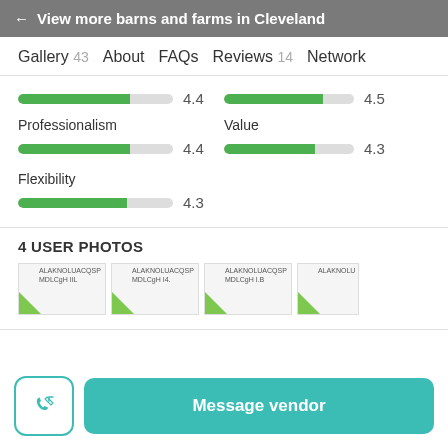← View more barns and farms in Cleveland
Gallery 43   About   FAQs   Reviews 14   Network
[Figure (infographic): Rating bar showing 4.4 (top left)]
[Figure (infographic): Rating bar showing 4.5 (top right)]
Professionalism
[Figure (infographic): Rating bar for Professionalism showing 4.4]
Value
[Figure (infographic): Rating bar for Value showing 4.3]
Flexibility
[Figure (infographic): Rating bar for Flexibility showing 4.3]
4 USER PHOTOS
[Figure (photo): Four user photo thumbnails in a row]
Message vendor